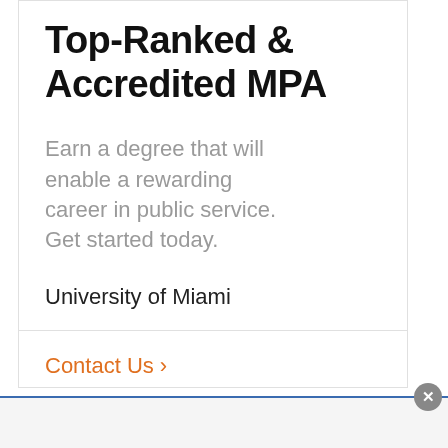Top-Ranked & Accredited MPA
Earn a degree that will enable a rewarding career in public service. Get started today.
University of Miami
Contact Us >